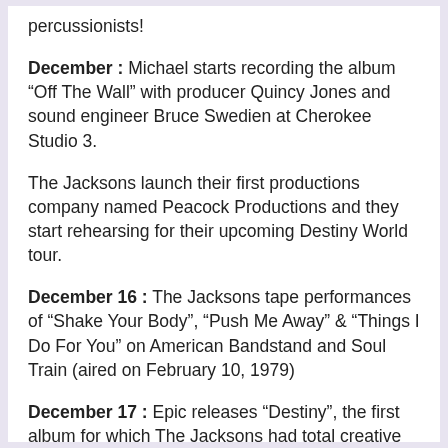percussionists!
December : Michael starts recording the album “Off The Wall” with producer Quincy Jones and sound engineer Bruce Swedien at Cherokee Studio 3.
The Jacksons launch their first productions company named Peacock Productions and they start rehearsing for their upcoming Destiny World tour.
December 16 : The Jacksons tape performances of “Shake Your Body”, “Push Me Away” & “Things I Do For You” on American Bandstand and Soul Train (aired on February 10, 1979)
December 17 : Epic releases “Destiny”, the first album for which The Jacksons had total creative control.